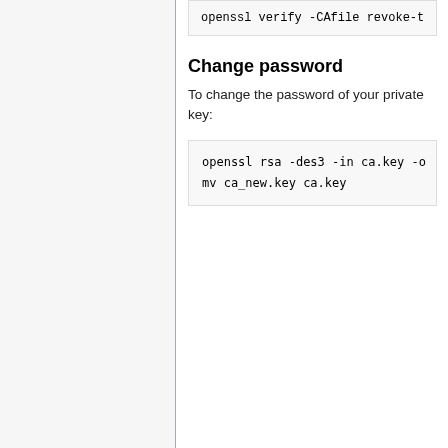openssl verify -CAfile revoke-t
Change password
To change the password of your private key:
openssl rsa -des3 -in ca.key -o
mv ca_new.key ca.key
Content is available under Creative Commons Attribution 3.0 Netherlands unless otherwise noted.
Privacy policy    About Exterior Memory
Disclaimers
[Figure (logo): Creative Commons Attribution 3.0 Netherlands badge]
[Figure (logo): Powered by MediaWiki badge]